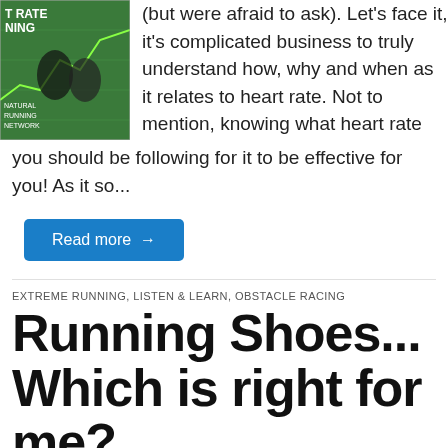[Figure (photo): Book or magazine cover with text 'T RATE', 'NING', 'ATURAL', 'UNNING', 'ETWORK' visible on a green background with two people]
(but were afraid to ask). Let's face it, it's complicated business to truly understand how, why and when as it relates to heart rate. Not to mention, knowing what heart rate you should be following for it to be effective for you! As it so...
Read more →
EXTREME RUNNING, LISTEN & LEARN, OBSTACLE RACING
Running Shoes... Which is right for me?
by diazhp • July 11, 2021 • 0 Comments